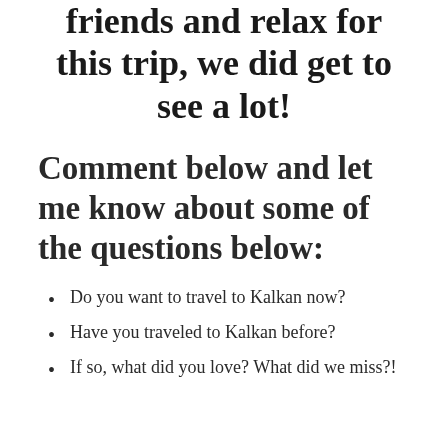friends and relax for this trip, we did get to see a lot!
Comment below and let me know about some of the questions below:
Do you want to travel to Kalkan now?
Have you traveled to Kalkan before?
If so, what did you love? What did we miss?!